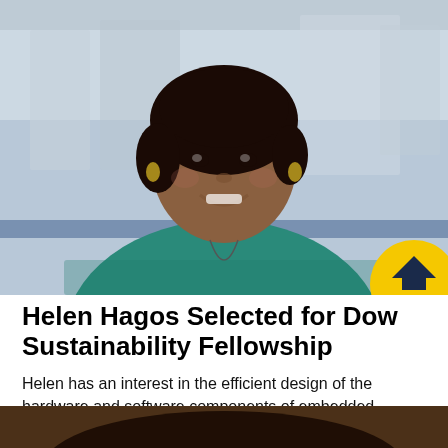[Figure (photo): Portrait photo of Helen Hagos, a young woman smiling, wearing a teal/green cable-knit sweater and a long necklace, with curly dark hair and gold earrings, in an indoor setting with blurred background.]
Helen Hagos Selected for Dow Sustainability Fellowship
Helen has an interest in the efficient design of the hardware and software components of embedded systems to be deployed in ecofriendly applications.
[Figure (photo): Partial photo visible at bottom of page, showing the top of a person's head with dark hair.]